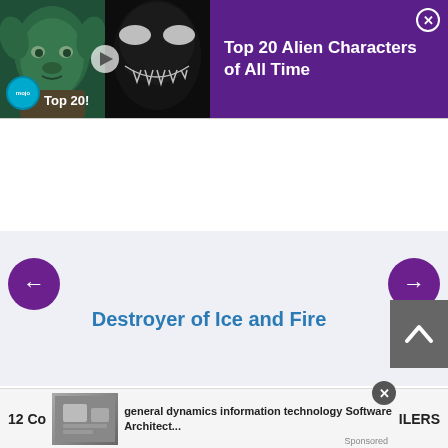[Figure (screenshot): Top banner advertisement with purple background showing Yoda and Venom movie images on the left, with text 'Top 20 Alien Characters of All Time' on the right, close button in corner]
Top 20 Alien Characters of All Time
[Figure (screenshot): Bookmark button with purple pill/rounded rectangle shape]
Bookmark
[Figure (screenshot): Left navigation arrow button (purple pill/circle) and right navigation arrow button (purple pill/circle)]
Destroyer of Ice and Fire
[Figure (screenshot): Grey scroll-to-top button with upward chevron]
12 Co
general dynamics information technology Software Architect...
ILERS
Sponsored